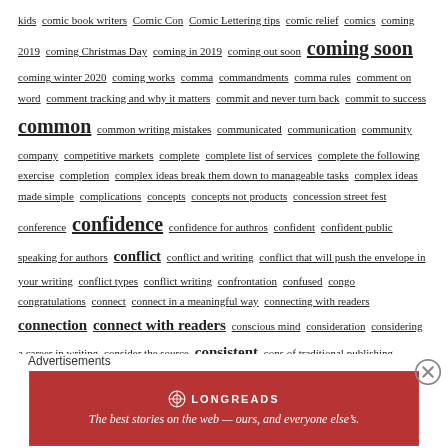kids comic book writers Comic Con Comic Lettering tips comic relief comics coming 2019 coming Christmas Day coming in 2019 coming out soon coming soon coming winter 2020 coming works comma commandments comma rules comment on word comment tracking and why it matters commit and never turn back commit to success common common writing mistakes communicated communication community company competitive markets complete complete list of services complete the following exercise completion complex ideas break them down to manageable tasks complex ideas made simple complications concepts concepts not products concession street fest conference confidence confidence for authros confident confident public speaking for authors conflict conflict and writing conflict that will push the envelope in your writing conflict types conflict writing confrontation confused congo congratulations connect connect in a meaningful way connecting with readers connection connect with readers conscious mind consideration considering a career in writing consider the source consistent cons of traditional publishing constructive constructive criticism consult consultations consumer behaviour consumer
Advertisements
[Figure (other): Longreads advertisement banner in red with logo and tagline: The best stories on the web — ours, and everyone else's.]